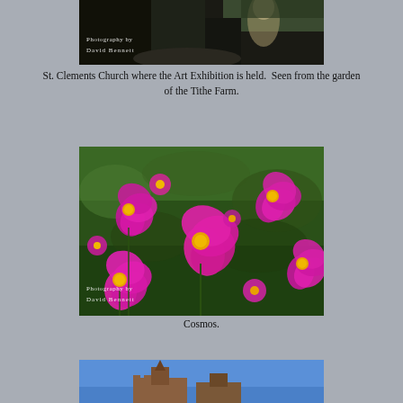[Figure (photo): Partial view of a garden/park scene with trees and path, with 'Photography by David Bennett' watermark text visible at bottom-left of the image.]
St. Clements Church where the Art Exhibition is held.  Seen from the garden of the Tithe Farm.
[Figure (photo): Close-up photograph of bright pink cosmos flowers in bloom against a green leafy background. 'Photography by David Bennett' watermark visible at bottom-left.]
Cosmos.
[Figure (photo): Partial view at bottom of page showing a church building against a blue sky.]